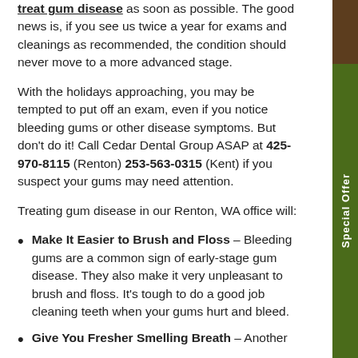treat gum disease as soon as possible. The good news is, if you see us twice a year for exams and cleanings as recommended, the condition should never move to a more advanced stage.
With the holidays approaching, you may be tempted to put off an exam, even if you notice bleeding gums or other disease symptoms. But don't do it! Call Cedar Dental Group ASAP at 425-970-8115 (Renton) 253-563-0315 (Kent) if you suspect your gums may need attention.
Treating gum disease in our Renton, WA office will:
Make It Easier to Brush and Floss – Bleeding gums are a common sign of early-stage gum disease. They also make it very unpleasant to brush and floss. It's tough to do a good job cleaning teeth when your gums hurt and bleed.
Give You Fresher Smelling Breath – Another